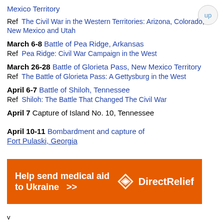Mexico Territory
Ref  The Civil War in the Western Territories: Arizona, Colorado, New Mexico and Utah
March 6-8  Battle of Pea Ridge, Arkansas
Ref  Pea Ridge: Civil War Campaign in the West
March 26-28  Battle of Glorieta Pass, New Mexico Territory
Ref  The Battle of Glorieta Pass: A Gettysburg in the West
April 6-7  Battle of Shiloh, Tennessee
Ref  Shiloh: The Battle That Changed The Civil War
April 7  Capture of Island No. 10, Tennessee
April 10-11  Bombardment and capture of Fort Pulaski, Georgia
[Figure (other): Advertisement banner: Help send medical aid to Ukraine >> DirectRelief logo]
v